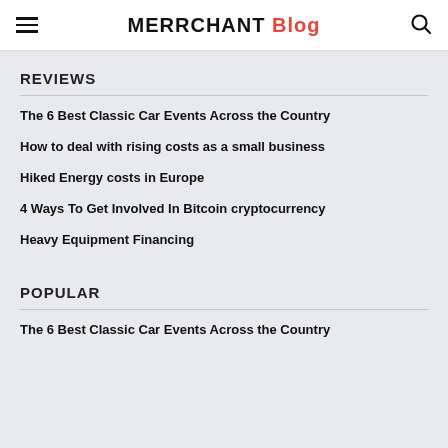MERRCHANT Blog
REVIEWS
The 6 Best Classic Car Events Across the Country
How to deal with rising costs as a small business
Hiked Energy costs in Europe
4 Ways To Get Involved In Bitcoin cryptocurrency
Heavy Equipment Financing
POPULAR
The 6 Best Classic Car Events Across the Country